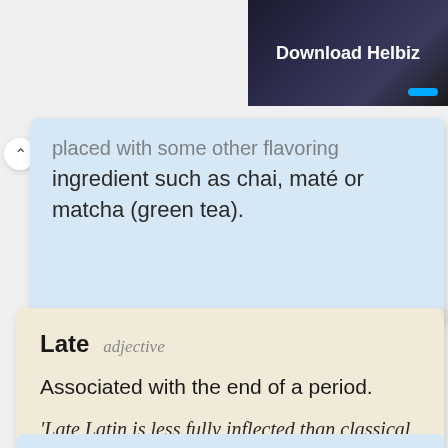[Figure (screenshot): Top right banner with dark background showing 'Download Helbiz' text in white bold, with a blue accent element]
placed with some other flavoring ingredient such as chai, maté or matcha (green tea).
Late  adjective
Associated with the end of a period.
'Late Latin is less fully inflected than classical Latin.';